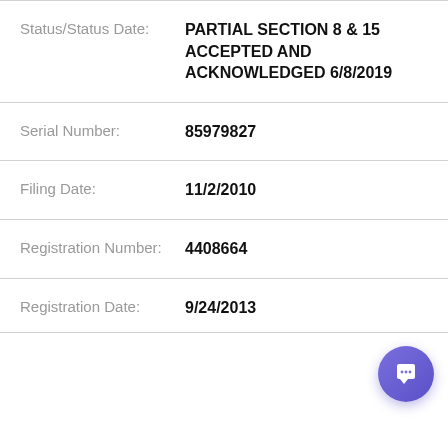Status/Status Date: PARTIAL SECTION 8 & 15 ACCEPTED AND ACKNOWLEDGED 6/8/2019
Serial Number: 85979827
Filing Date: 11/2/2010
Registration Number: 4408664
Registration Date: 9/24/2013